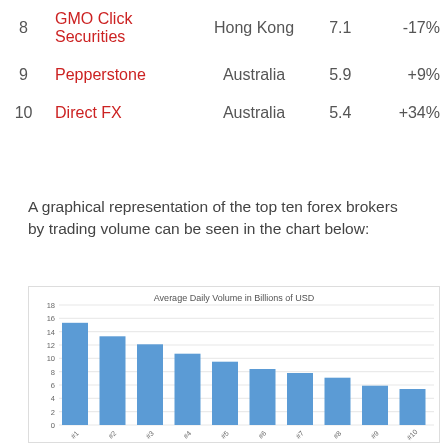| # | Broker | Country | Volume | Change |
| --- | --- | --- | --- | --- |
| 8 | GMO Click Securities | Hong Kong | 7.1 | -17% |
| 9 | Pepperstone | Australia | 5.9 | +9% |
| 10 | Direct FX | Australia | 5.4 | +34% |
A graphical representation of the top ten forex brokers by trading volume can be seen in the chart below:
[Figure (bar-chart): Average Daily Volume in Billions of USD]